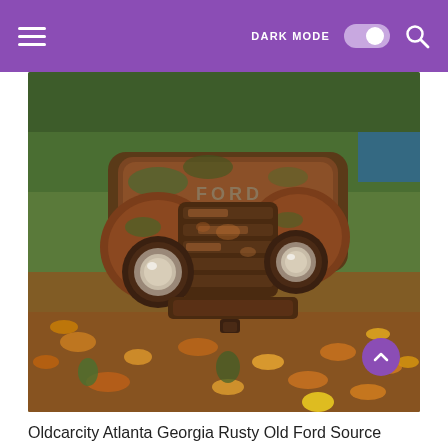DARK MODE [toggle] [search]
[Figure (photo): Front view of a heavily rusted and moss-covered vintage Ford truck abandoned outdoors, surrounded by fallen leaves on the ground. The FORD lettering is visible on the grille. Both headlights are present but very weathered.]
Oldcarcity Atlanta Georgia Rusty Old Ford Source